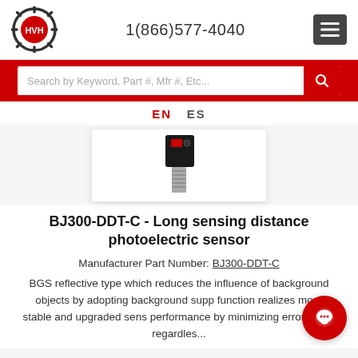HVH logo | 1(866)577-4040 | menu button
Search by Keyword, Part #, Mfr #, Etc...
EN  ES
[Figure (photo): Product photo of BJ300-DDT-C photoelectric sensor, showing the sensor head with threaded barrel, partially visible on a white background]
BJ300-DDT-C - Long sensing distance photoelectric sensor
Manufacturer Part Number: BJ300-DDT-C
BGS reflective type which reduces the influence of background objects by adopting background supp function realizes more stable and upgraded sens performance by minimizing error range regardles...